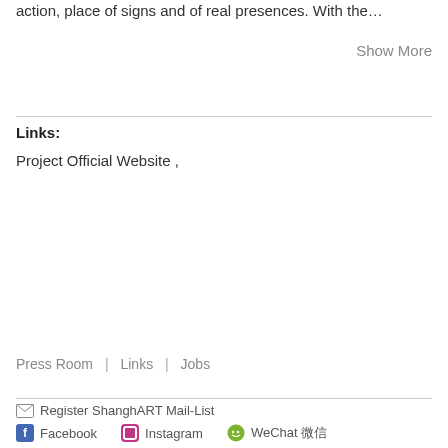action, place of signs and of real presences. With the…
Show More
Links:
Project Official Website ,
Press Room | Links | Jobs
Register ShanghART Mail-List
Facebook   Instagram   WeChat 微信